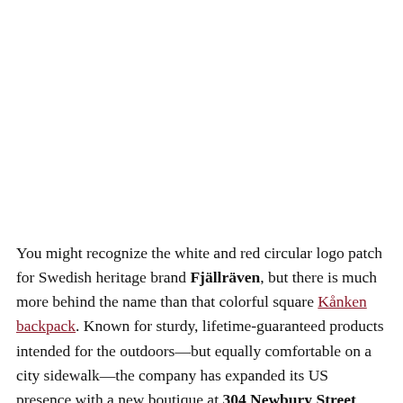You might recognize the white and red circular logo patch for Swedish heritage brand Fjällräven, but there is much more behind the name than that colorful square Kånken backpack. Known for sturdy, lifetime-guaranteed products intended for the outdoors—but equally comfortable on a city sidewalk—the company has expanded its US presence with a new boutique at 304 Newbury Street. The 1,000 square